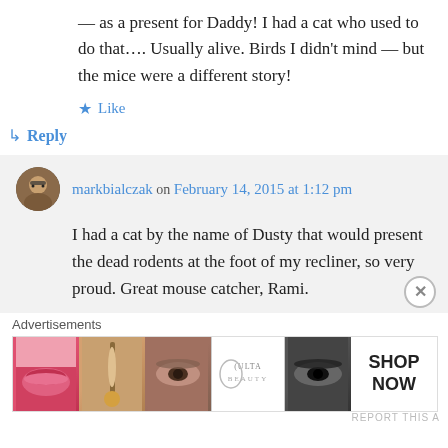— as a present for Daddy! I had a cat who used to do that…. Usually alive. Birds I didn't mind — but the mice were a different story!
★ Like
↳ Reply
markbialczak on February 14, 2015 at 1:12 pm
I had a cat by the name of Dusty that would present the dead rodents at the foot of my recliner, so very proud. Great mouse catcher, Rami.
Advertisements
[Figure (photo): ULTA beauty advertisement banner showing close-up beauty/makeup images and SHOP NOW text]